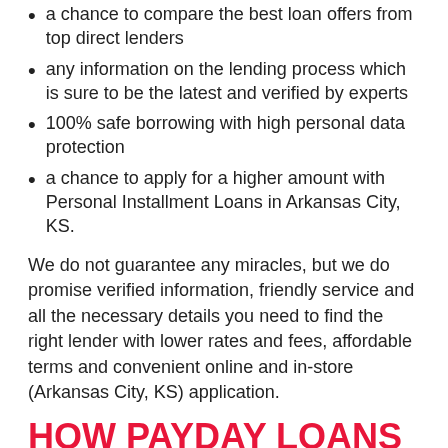a chance to compare the best loan offers from top direct lenders
any information on the lending process which is sure to be the latest and verified by experts
100% safe borrowing with high personal data protection
a chance to apply for a higher amount with Personal Installment Loans in Arkansas City, KS.
We do not guarantee any miracles, but we do promise verified information, friendly service and all the necessary details you need to find the right lender with lower rates and fees, affordable terms and convenient online and in-store (Arkansas City, KS) application.
HOW PAYDAY LOANS WORK IN Arkansas City, KS
All you need to do to apply for a Payday Loan in Arkansas